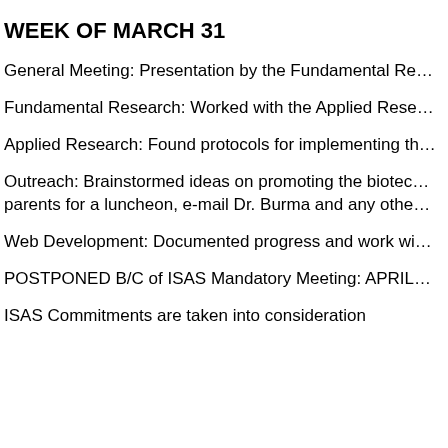WEEK OF MARCH 31
General Meeting: Presentation by the Fundamental Re…
Fundamental Research: Worked with the Applied Rese…
Applied Research: Found protocols for implementing th…
Outreach: Brainstormed ideas on promoting the biotec… parents for a luncheon, e-mail Dr. Burma and any othe…
Web Development: Documented progress and work wi…
POSTPONED B/C of ISAS Mandatory Meeting: APRIL…
ISAS Commitments are taken into consideration